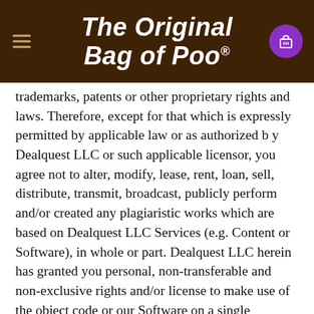The Original Bag of Poo®
trademarks, patents or other proprietary rights and laws. Therefore, except for that which is expressly permitted by applicable law or as authorized b y Dealquest LLC or such applicable licensor, you agree not to alter, modify, lease, rent, loan, sell, distribute, transmit, broadcast, publicly perform and/or created any plagiaristic works which are based on Dealquest LLC Services (e.g. Content or Software), in whole or part. Dealquest LLC herein has granted you personal, non-transferable and non-exclusive rights and/or license to make use of the object code or our Software on a single computer, as long as you do not, and shall not, allow any third party to duplicate, alter, modify, create or plagiarize work from, reverse engineer, re assemble or otherwise make an attempt to locate or discern any source code, sell, assign, sublicense, grant a